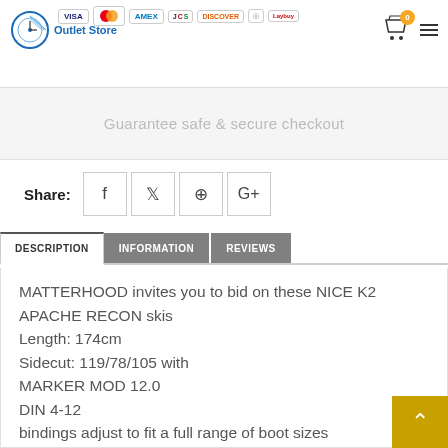Outlet Store - payment icons: VISA, Mastercard, AMEX, JCB, Discover, Diners, Laybuy
Guarantee safe & secure checkout
Share: [Facebook] [Twitter] [Pinterest] [Google+]
DESCRIPTION | INFORMATION | REVIEWS
MATTERHOOD invites you to bid on these NICE K2 APACHE RECON skis
Length: 174cm
Sidecut: 119/78/105 with
MARKER MOD 12.0
DIN 4-12
bindings adjust to fit a full range of boot sizes
Ultimate high performance ski for all conditions